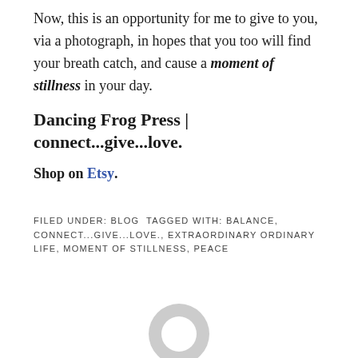Now, this is an opportunity for me to give to you, via a photograph, in hopes that you too will find your breath catch, and cause a moment of stillness in your day.
Dancing Frog Press | connect...give...love.
Shop on Etsy.
FILED UNDER: BLOG TAGGED WITH: BALANCE, CONNECT...GIVE...LOVE., EXTRAORDINARY ORDINARY LIFE, MOMENT OF STILLNESS, PEACE
[Figure (illustration): Circular avatar/profile placeholder icon in light gray]